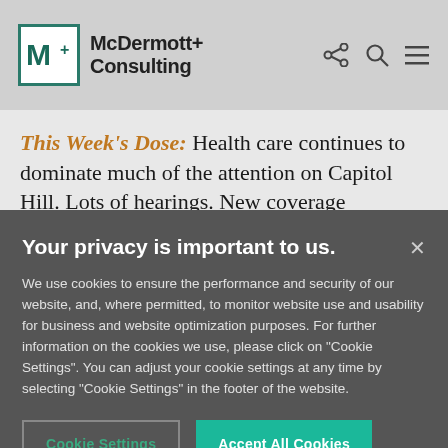McDermott+ Consulting
This Week's Dose: Health care continues to dominate much of the attention on Capitol Hill. Lots of hearings. New coverage expansion legislation. And more state action on Medicaid. <...
Your privacy is important to us.
We use cookies to ensure the performance and security of our website, and, where permitted, to monitor website use and usability for business and website optimization purposes. For further information on the cookies we use, please click on "Cookie Settings". You can adjust your cookie settings at any time by selecting "Cookie Settings" in the footer of the website.
Cookie Settings   Accept All Cookies